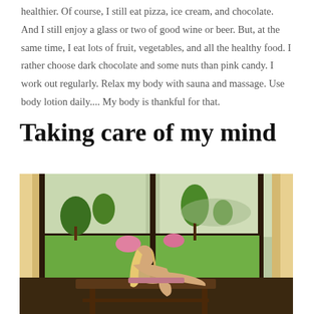healthier. Of course, I still eat pizza, ice cream, and chocolate. And I still enjoy a glass or two of good wine or beer. But, at the same time, I eat lots of fruit, vegetables, and all the healthy food. I rather choose dark chocolate and some nuts than pink candy. I work out regularly. Relax my body with sauna and massage. Use body lotion daily.... My body is thankful for that.
Taking care of my mind
[Figure (photo): A person sitting on a wooden bench/table looking out through large windows at a tropical garden landscape with palm trees, green lawn, flowering plants, and mountains in the background. Sheer curtains frame the scene.]